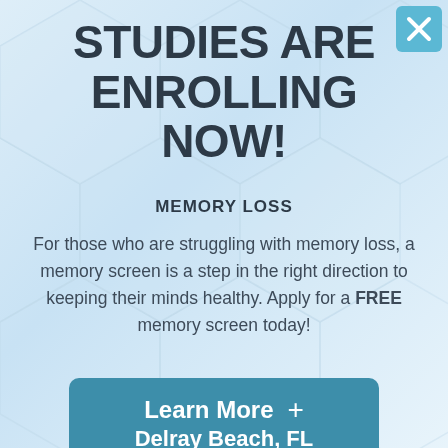STUDIES ARE ENROLLING NOW!
MEMORY LOSS
For those who are struggling with memory loss, a memory screen is a step in the right direction to keeping their minds healthy. Apply for a FREE memory screen today!
Learn More + Delray Beach, FL